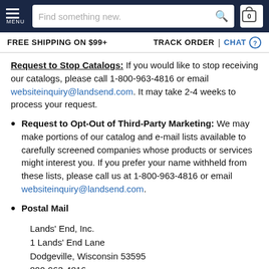MENU | Find something new. | 0
FREE SHIPPING ON $99+ | TRACK ORDER | CHAT
Request to Stop Catalogs: If you would like to stop receiving our catalogs, please call 1-800-963-4816 or email websiteinquiry@landsend.com. It may take 2-4 weeks to process your request.
Request to Opt-Out of Third-Party Marketing: We may make portions of our catalog and e-mail lists available to carefully screened companies whose products or services might interest you. If you prefer your name withheld from these lists, please call us at 1-800-963-4816 or email websiteinquiry@landsend.com.
Postal Mail
Lands' End, Inc.
1 Lands' End Lane
Dodgeville, Wisconsin 53595
800-963-4816